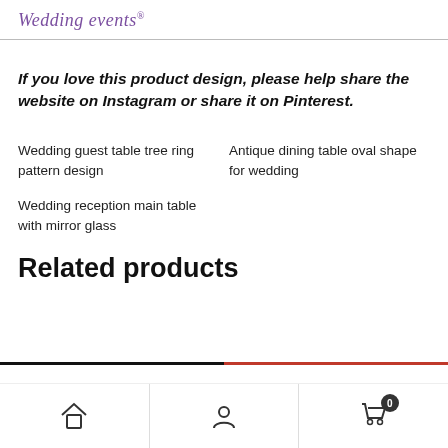Wedding events®
If you love this product design, please help share the website on Instagram or share it on Pinterest.
Wedding guest table tree ring pattern design
Antique dining table oval shape for wedding
Wedding reception main table with mirror glass
Related products
Home | Account | Cart (0)